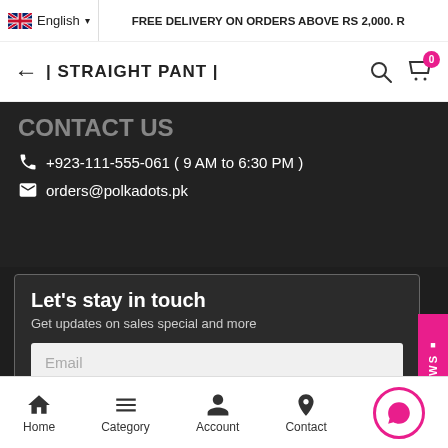FREE DELIVERY ON ORDERS ABOVE RS 2,000. R
| STRAIGHT PANT |
+923-111-555-061 ( 9 AM to 6:30 PM )
orders@polkadots.pk
Let's stay in touch
Get updates on sales special and more
Email
Subscribe
Home  Category  Account  Contact